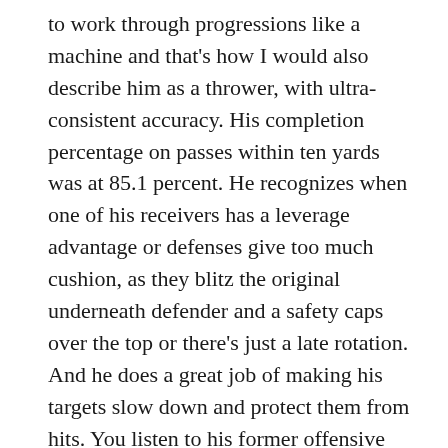to work through progressions like a machine and that's how I would also describe him as a thrower, with ultra-consistent accuracy. His completion percentage on passes within ten yards was at 85.1 percent. He recognizes when one of his receivers has a leverage advantage or defenses give too much cushion, as they blitz the original underneath defender and a safety caps over the top or there's just a late rotation. And he does a great job of making his targets slow down and protect them from hits. You listen to his former offensive coordinator Steve Sarkasian talk about how quickly he was able to install new parts of the